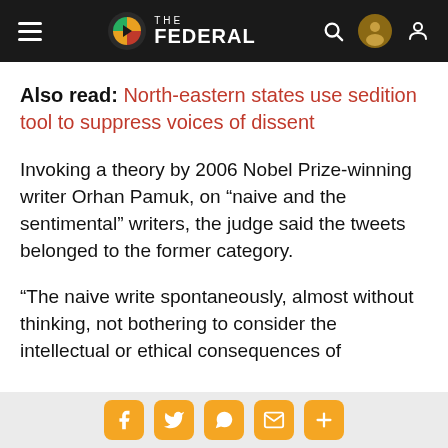THE FEDERAL
Also read: North-eastern states use sedition tool to suppress voices of dissent
Invoking a theory by 2006 Nobel Prize-winning writer Orhan Pamuk, on “naive and the sentimental” writers, the judge said the tweets belonged to the former category.
“The naive write spontaneously, almost without thinking, not bothering to consider the intellectual or ethical consequences of
Social share buttons: Facebook, Twitter, WhatsApp, Email, More